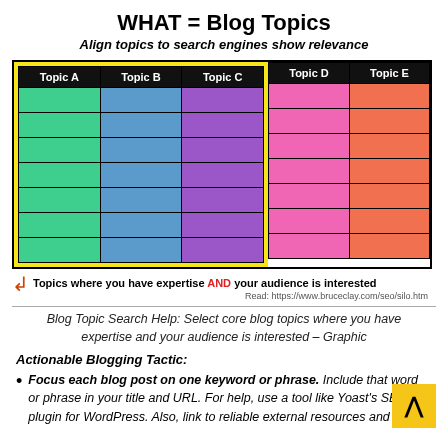WHAT = Blog Topics
Align topics to search engines show relevance
[Figure (table-as-image): Color-coded table with 5 topic columns (A=green, B=blue, C=purple, D=pink, E=orange-red). Topics A, B, C are highlighted with a yellow border. Each column has 7 colored rows. Annotation below with red arrow: 'Topics where you have expertise AND your audience is interested'. Read: https://www.bruceclay.com/seo/silo.htm]
Blog Topic Search Help: Select core blog topics where you have expertise and your audience is interested – Graphic
Actionable Blogging Tactic:
Focus each blog post on one keyword or phrase. Include that word or phrase in your title and URL. For help, use a tool like Yoast's SEO plugin for WordPress. Also, link to reliable external resources and your